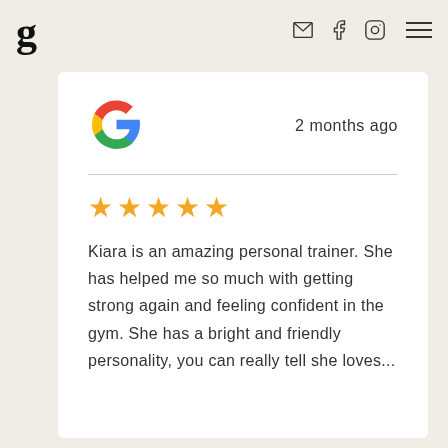g
[Figure (logo): Google 'G' logo colorful icon]
2 months ago
★★★★★ (5 stars)
Kiara is an amazing personal trainer. She has helped me so much with getting strong again and feeling confident in the gym. She has a bright and friendly personality, you can really tell she loves...